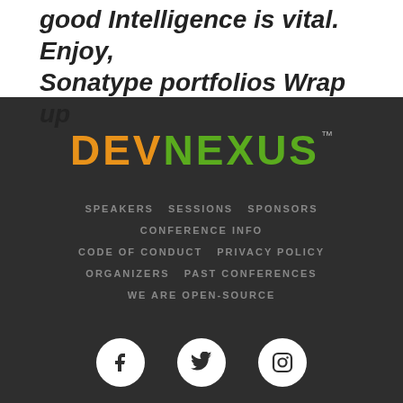good Intelligence is vital. Enjoy, Sonatype portfolios Wrap up
[Figure (logo): DEVNEXUS logo with DEV in orange and NEXUS in green, bold uppercase letters with TM superscript]
SPEAKERS   SESSIONS   SPONSORS
CONFERENCE INFO
CODE OF CONDUCT   PRIVACY POLICY
ORGANIZERS   PAST CONFERENCES
WE ARE OPEN-SOURCE
[Figure (illustration): Three white social media icons on white circles: Facebook, Twitter, Instagram]